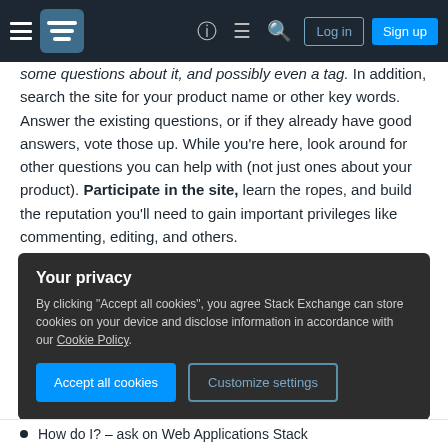Stack Exchange navigation bar with hamburger menu, logo, help, chat, search icons, Log in and Sign up buttons
some questions about it, and possibly even a tag. In addition, search the site for your product name or other key words. Answer the existing questions, or if they already have good answers, vote those up. While you're here, look around for other questions you can help with (not just ones about your product). Participate in the site, learn the ropes, and build the reputation you'll need to gain important privileges like commenting, editing, and others.
Web Applications Stack Exchange can help support your product but it can't be the only support. There are issues that only you can address, and if you send your users to Web
Your privacy
By clicking "Accept all cookies", you agree Stack Exchange can store cookies on your device and disclose information in accordance with our Cookie Policy.
Accept all cookies   Customize settings
How do I? – ask on Web Applications Stack